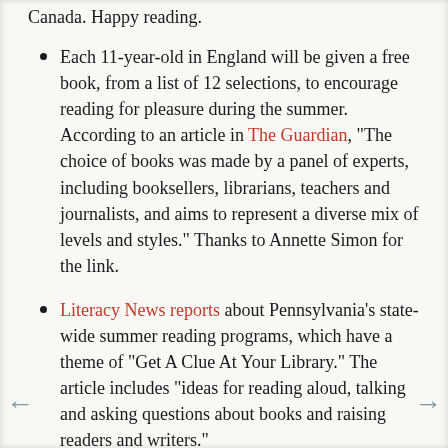Canada. Happy reading.
Each 11-year-old in England will be given a free book, from a list of 12 selections, to encourage reading for pleasure during the summer. According to an article in The Guardian, "The choice of books was made by a panel of experts, including booksellers, librarians, teachers and journalists, and aims to represent a diverse mix of levels and styles." Thanks to Annette Simon for the link.
Literacy News reports about Pennsylvania's state-wide summer reading programs, which have a theme of "Get A Clue At Your Library." The article includes "ideas for reading aloud, talking and asking questions about books and raising readers and writers."